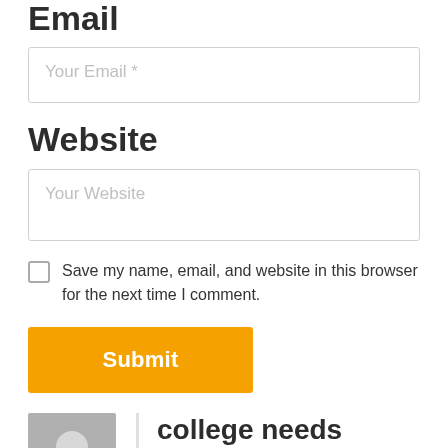Email
[Figure (other): Email input field with placeholder text 'Your Email *']
Website
[Figure (other): Website input field with placeholder text 'Your Website']
Save my name, email, and website in this browser for the next time I comment.
Submit
college needs
MARCH 9, 2012 AT 5:47 AM